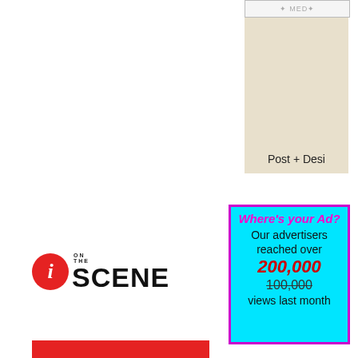[Figure (other): Partial cropped image showing 'Post + Desi' text on a beige/tan background]
[Figure (infographic): Cyan ad box with magenta border reading: Where's your Ad? Our advertisers reached over 200,000 (strikethrough 100,000) views last month]
[Figure (logo): iOnTheSCENE logo: red circle with italic i, followed by ON THE SCENE text]
[Figure (other): Red bar at bottom of page]